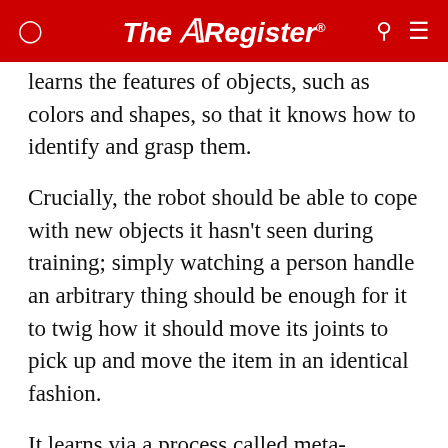The Register
learns the features of objects, such as colors and shapes, so that it knows how to identify and grasp them.
Crucially, the robot should be able to cope with new objects it hasn't seen during training; simply watching a person handle an arbitrary thing should be enough for it to twig how it should move its joints to pick up and move the item in an identical fashion.
It learns via a process called meta-learning. This is not the same as supervised learning, which is typically used in deep-learning research and involves training systems to perfect a narrow, single task and testing the software by giving it an example that it hasn't seen